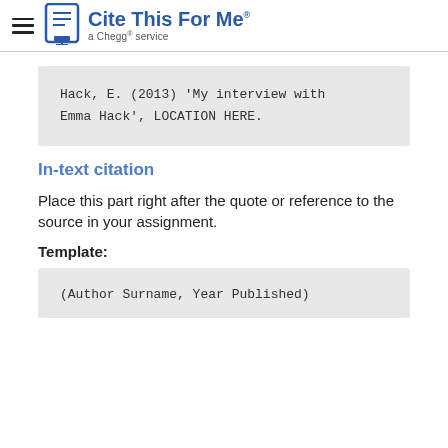Cite This For Me — a Chegg service
Hack, E. (2013) 'My interview with Emma Hack', LOCATION HERE.
In-text citation
Place this part right after the quote or reference to the source in your assignment.
Template:
(Author Surname, Year Published)